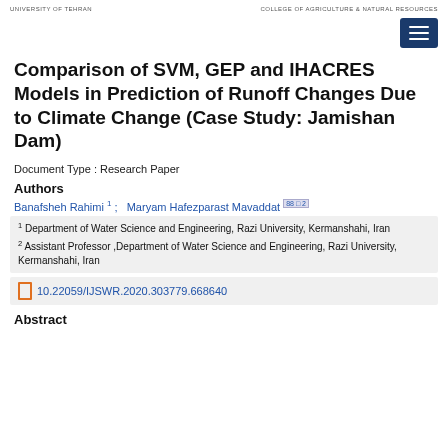UNIVERSITY OF TEHRAN   COLLEGE OF AGRICULTURE & NATURAL RESOURCES
Comparison of SVM, GEP and IHACRES Models in Prediction of Runoff Changes Due to Climate Change (Case Study: Jamishan Dam)
Document Type : Research Paper
Authors
Banafsheh Rahimi 1 ;   Maryam Hafezparast Mavaddat  2
1 Department of Water Science and Engineering, Razi University, Kermanshahi, Iran
2 Assistant Professor ,Department of Water Science and Engineering, Razi University, Kermanshahi, Iran
10.22059/IJSWR.2020.303779.668640
Abstract